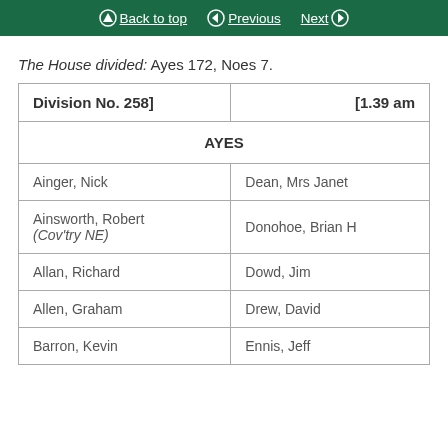Back to top   Previous   Next
The House divided: Ayes 172, Noes 7.
| Division No. 258] | [1.39 am |
| --- | --- |
| AYES |  |
| Ainger, Nick | Dean, Mrs Janet |
| Ainsworth, Robert (Cov'try NE) | Donohoe, Brian H |
| Allan, Richard | Dowd, Jim |
| Allen, Graham | Drew, David |
| Barron, Kevin | Ennis, Jeff |